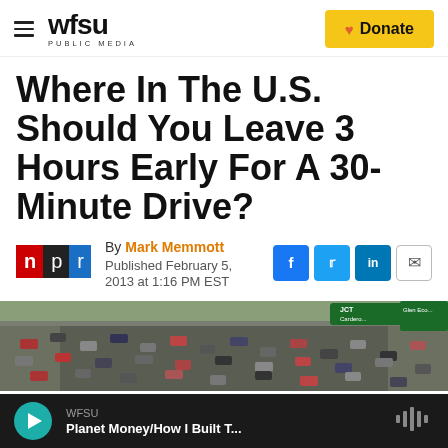WFSU PUBLIC MEDIA — Donate
Where In The U.S. Should You Leave 3 Hours Early For A 30-Minute Drive?
By Mark Memmott
Published February 5, 2013 at 1:16 PM EST
[Figure (photo): Aerial view of a busy US highway interchange with multiple lanes of traffic and green highway signs]
WFSU — Planet Money/How I Built T...